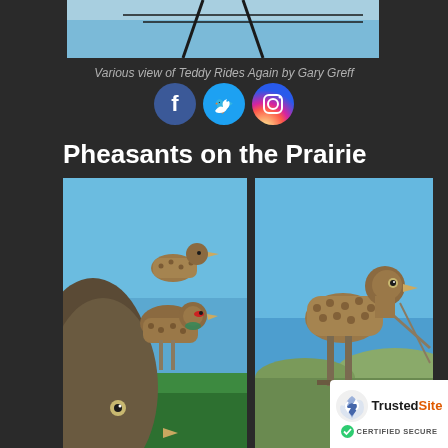[Figure (photo): Partial view of a large metal sculpture against blue sky — top portion of Teddy Rides Again by Gary Greff]
Various view of Teddy Rides Again by Gary Greff
[Figure (infographic): Social media icons: Facebook, Twitter, Instagram]
Pheasants on the Prairie
[Figure (photo): Close-up of large metal pheasant sculptures (Pheasants on the Prairie) against blue sky and green fields]
[Figure (photo): Wide shot of a large metal pheasant sculpture on metal legs against blue sky with distant hills]
[Figure (logo): TrustedSite Certified Secure badge]